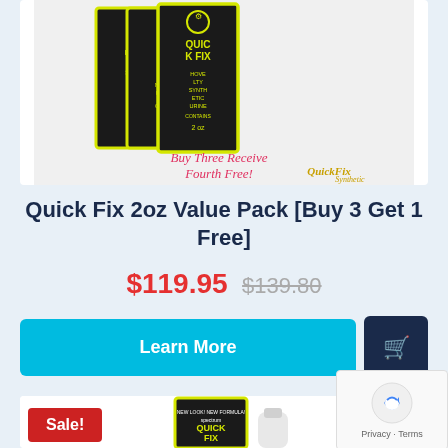[Figure (photo): Quick Fix 2oz synthetic urine product packages with 'Buy Three Receive Fourth Free' promotional text and Quick Fix Synthetic logo]
Quick Fix 2oz Value Pack [Buy 3 Get 1 Free]
$119.95 $139.80
[Figure (screenshot): Learn More button (cyan) and shopping cart button (dark navy)]
[Figure (photo): Sale! badge and Quick Fix product image (second product card, partially visible)]
[Figure (other): reCAPTCHA widget with Privacy and Terms links]